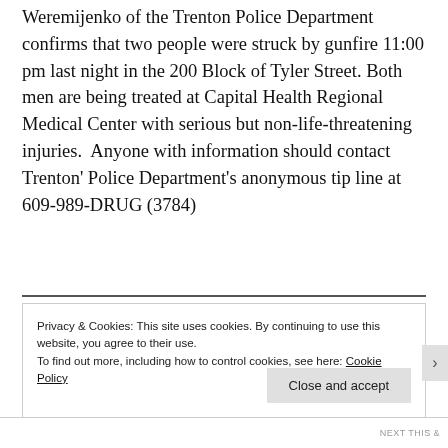Weremijenko of the Trenton Police Department confirms that two people were struck by gunfire 11:00 pm last night in the 200 Block of Tyler Street. Both men are being treated at Capital Health Regional Medical Center with serious but non-life-threatening injuries.  Anyone with information should contact Trenton' Police Department's anonymous tip line at 609-989-DRUG (3784)
Privacy & Cookies: This site uses cookies. By continuing to use this website, you agree to their use.
To find out more, including how to control cookies, see here: Cookie Policy